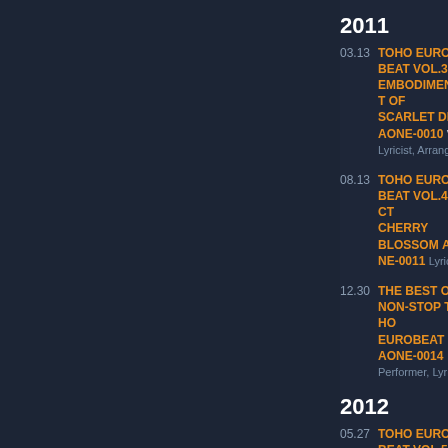12.30 TOHO EUROBEAT VOL.2 AONE- Vocals, Lyricist
2011
03.13 TOHO EUROBEAT VOL.3 THE EMBODIMENT OF SCARLET DEVIL AONE-0010 Vocals, Lyricist, Arranger
08.13 TOHO EUROBEAT VOL.4 PERFECT CHERRY BLOSSOM AONE-0011 Lyricist, Arranger
12.30 THE BEST OF NON-STOP TOHO EUROBEAT 2 AONE-0014 Performer, Lyricist
2012
05.27 TOHO EUROBEAT VOL.5 IMPERISHABLE NIGHT AONE- Lyricist, Arranger